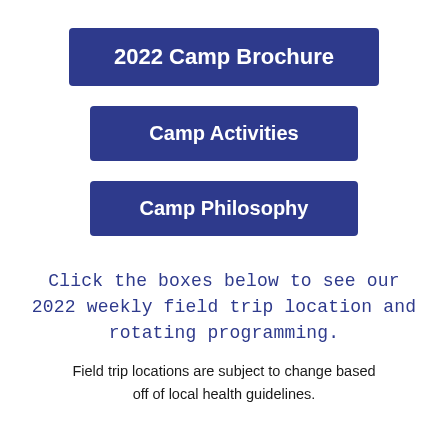2022 Camp Brochure
Camp Activities
Camp Philosophy
Click the boxes below to see our 2022 weekly field trip location and rotating programming.
Field trip locations are subject to change based off of local health guidelines.